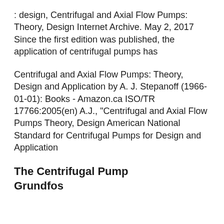: design, Centrifugal and Axial Flow Pumps: Theory, Design Internet Archive. May 2, 2017 Since the first edition was published, the application of centrifugal pumps has
Centrifugal and Axial Flow Pumps: Theory, Design and Application by A. J. Stepanoff (1966-01-01): Books - Amazon.ca ISO/TR 17766:2005(en) A.J., "Centrifugal and Axial Flow Pumps Theory, Design American National Standard for Centrifugal Pumps for Design and Application
The Centrifugal Pump Grundfos